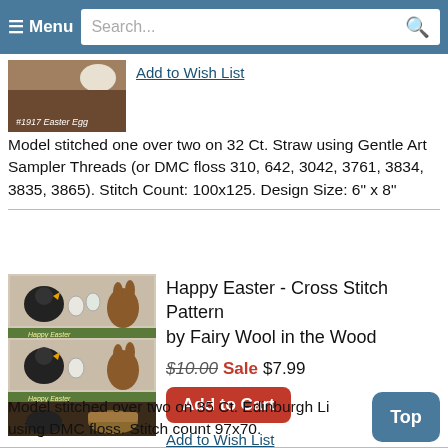≡ Menu  Search...
[Figure (photo): Partial image of a cross stitch product labeled #1917 Easter Egg with a cup visible in background]
Add to Wish List
Model stitched one over two on 32 Ct. Straw using Gentle Art Sampler Threads (or DMC floss 310, 642, 3042, 3761, 3834, 3835, 3865). Stitch Count: 100x125. Design Size: 6" x 8"
[Figure (photo): Cross stitch pattern showing Happy Easter design with chickens and bunnies, shown in multiple colorways]
Happy Easter - Cross Stitch Pattern by Fairy Wool in the Wood
$10.00 Sale $7.99
Add to Cart
Add to Wish List
Model stitched over two on 35 Ct. Edinburgh Li using DMC floss. Stitch count 97x70.